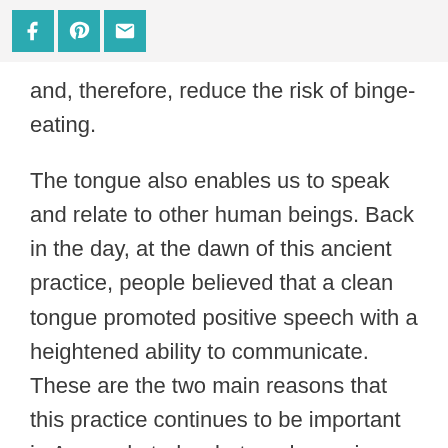[Social share buttons: Facebook, Pinterest, Email]
and, therefore, reduce the risk of binge-eating.
The tongue also enables us to speak and relate to other human beings. Back in the day, at the dawn of this ancient practice, people believed that a clean tongue promoted positive speech with a heightened ability to communicate. These are the two main reasons that this practice continues to be important in Ayurveda today, but modern science has proven that there are some other benefits, too.
Research has shown that this practice has the power to protect against several oral hygiene issues. A study published in the Journal of